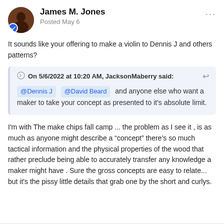James M. Jones
Posted May 6
It sounds like your offering to make a violin to Dennis J and others patterns?
On 5/6/2022 at 10:20 AM, JacksonMaberry said: @Dennis J @David Beard and anyone else who want a maker to take your concept as presented to it's absolute limit.
I'm with The make chips fall camp ... the problem as I see it , is as much as anyone might describe a “concept” there’s so much tactical information and the physical properties of the wood that rather preclude being able to accurately transfer any knowledge a maker might have . Sure the gross concepts are easy to relate... but it's the pissy little details that grab one by the short and curlys.